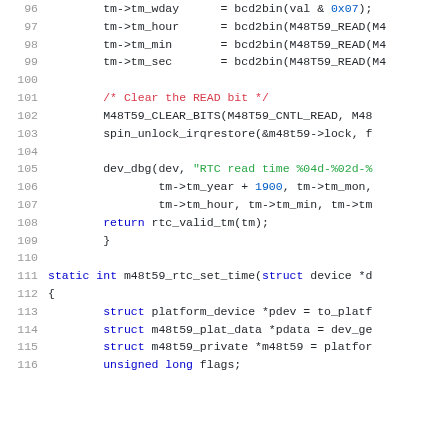[Figure (screenshot): Source code listing showing C code for RTC (real-time clock) functions, lines 96-116, including tm struct field assignments, M48T59 macros, spin_unlock_irqrestore, dev_dbg, return rtc_valid_tm, closing brace, and start of m48t59_rtc_set_time function with struct declarations.]